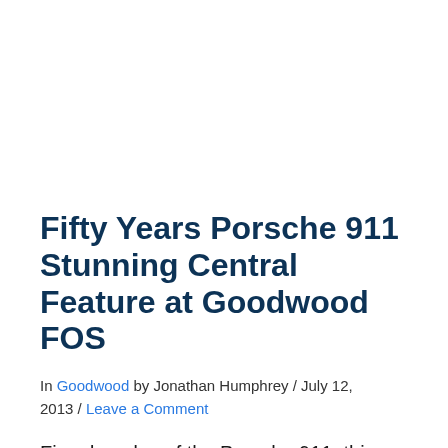Fifty Years Porsche 911 Stunning Central Feature at Goodwood FOS
In Goodwood by Jonathan Humphrey / July 12, 2013 / Leave a Comment
Five decades of the Porsche 911, this weekend the iconic sports coupe takes the stage as the stunning central feature at Goodwood The Central Feature sculpture